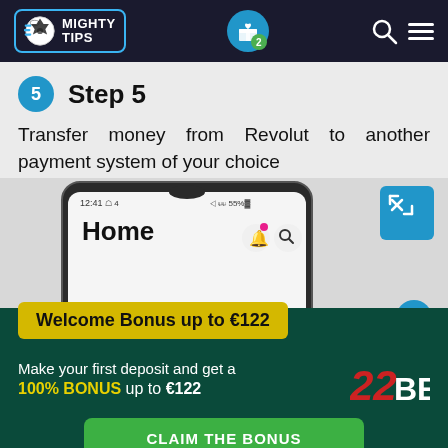MIGHTY TIPS — navigation header with logo, gift icon (badge: 2), search, menu
5  Step 5
Transfer money from Revolut to another payment system of your choice
[Figure (screenshot): Mobile phone screen showing a sports betting app home screen with status bar showing 12:41, battery 55%]
Welcome Bonus up to €122
Make your first deposit and get a 100% BONUS up to €122
CLAIM THE BONUS